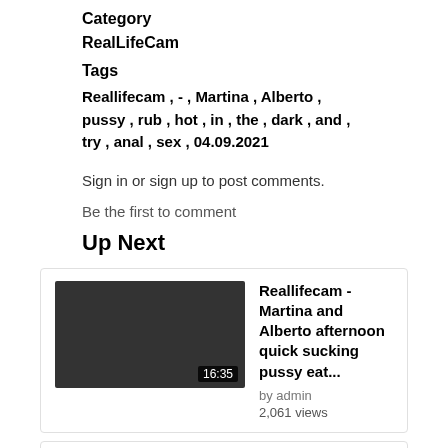Category
RealLifeCam
Tags
Reallifecam , - , Martina , Alberto , pussy , rub , hot , in , the , dark , and , try , anal , sex , 04.09.2021
Sign in or sign up to post comments.
Be the first to comment
Up Next
[Figure (screenshot): Video thumbnail dark background with duration 16:35]
Reallifecam - Martina and Alberto afternoon quick sucking pussy eat... by admin 2,061 views
[Figure (screenshot): Video thumbnail dark background with duration partially visible]
Reallifecam - Martina and Alberto anal fuck and cum on her pussy... by admin 7,007 views